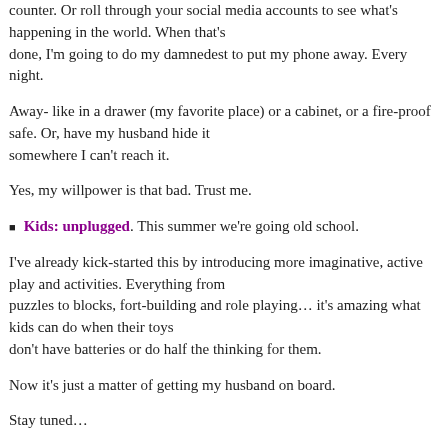counter. Or roll through your social media accounts to see what's happening in the world. When that's done, I'm going to do my damnedest to put my phone away. Every night.
Away- like in a drawer (my favorite place) or a cabinet, or a fire-proof safe. Or, have my husband hide it somewhere I can't reach it.
Yes, my willpower is that bad. Trust me.
Kids: unplugged. This summer we're going old school.
I've already kick-started this by introducing more imaginative, active play and activities. Everything from puzzles to blocks, fort-building and role playing… it's amazing what kids can do when their toys don't have batteries or do half the thinking for them.
Now it's just a matter of getting my husband on board.
Stay tuned…
Filed Under: .mom. Tagged With: parenting, play, summer, TV time, unpl
imaginative play: build more forts
05/23/2012 By Live.Mom.Work. 2,641 Comments